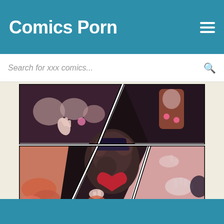Comics Porn
Search for xxx comics...
[Figure (illustration): Comic book style illustration with multiple panels showing anime/cartoon characters in a dynamic diagonal panel layout with dark and pink color scheme]
[Figure (illustration): Partial view of another comic page at bottom, dark tones]